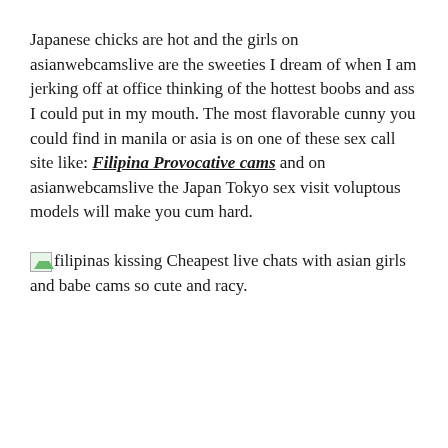Japanese chicks are hot and the girls on asianwebcamslive are the sweeties I dream of when I am jerking off at office thinking of the hottest boobs and ass I could put in my mouth. The most flavorable cunny you could find in manila or asia is on one of these sex call site like: Filipina Provocative cams and on asianwebcamslive the Japan Tokyo sex visit voluptous models will make you cum hard.
[filipinas kissing image] Cheapest live chats with asian girls and babe cams so cute and racy.